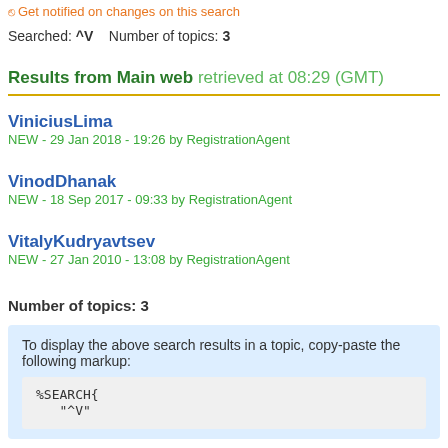Get notified on changes on this search
Searched: ^V   Number of topics: 3
Results from Main web retrieved at 08:29 (GMT)
ViniciusLima
NEW - 29 Jan 2018 - 19:26 by RegistrationAgent
VinodDhanak
NEW - 18 Sep 2017 - 09:33 by RegistrationAgent
VitalyKudryavtsev
NEW - 27 Jan 2010 - 13:08 by RegistrationAgent
Number of topics: 3
To display the above search results in a topic, copy-paste the following markup:
%SEARCH{
   "^V"